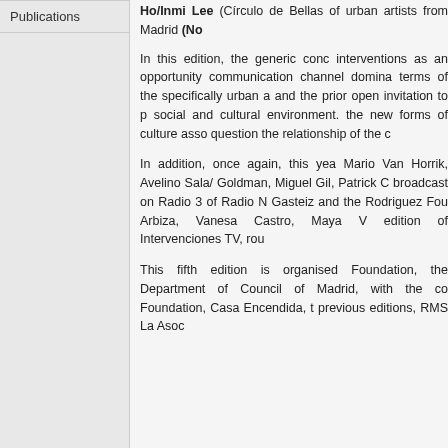Publications
Ho/Inmi Lee (Círculo de Bellas of urban artists from Madrid (No
In this edition, the generic conc interventions as an opportunity communication channel domina terms of the specifically urban a and the prior open invitation to p social and cultural environment. the new forms of culture asso question the relationship of the c
In addition, once again, this yea Mario Van Horrik, Avelino Sala/ Goldman, Miguel Gil, Patrick C broadcast on Radio 3 of Radio M Gasteiz and the Rodriguez Fou Arbiza, Vanesa Castro, Maya V edition of Intervenciones TV, rou
This fifth edition is organised Foundation, the Department of Council of Madrid, with the co Foundation, Casa Encendida, t previous editions, RMS La Asoc